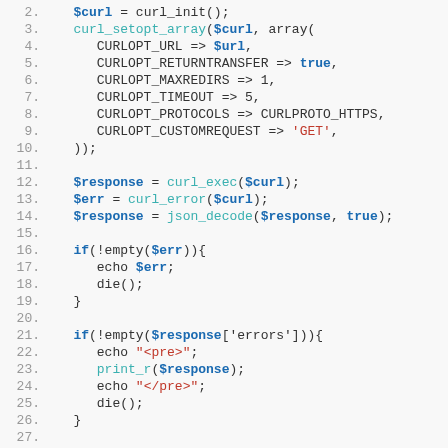PHP code snippet lines 2-28 showing curl HTTP request setup and response handling